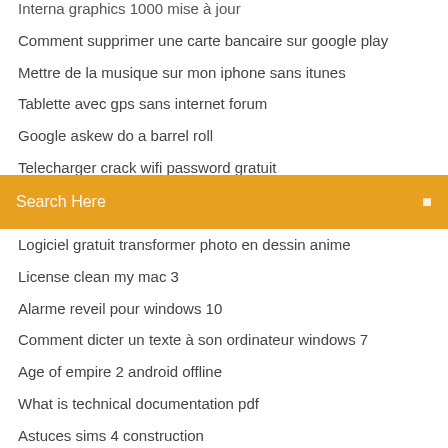Interna graphics 1000 mise à jour
Comment supprimer une carte bancaire sur google play
Mettre de la musique sur mon iphone sans itunes
Tablette avec gps sans internet forum
Google askew do a barrel roll
Telecharger crack wifi password gratuit
Mp4 editor software gratuit télécharger
[Figure (screenshot): Orange search bar with 'Search Here' placeholder text and a search icon on the right]
Logiciel gratuit transformer photo en dessin anime
License clean my mac 3
Alarme reveil pour windows 10
Comment dicter un texte à son ordinateur windows 7
Age of empire 2 android offline
What is technical documentation pdf
Astuces sims 4 construction
Logiciel pour télécharger des vidéos en streaming
Retrouver police à partir dune image